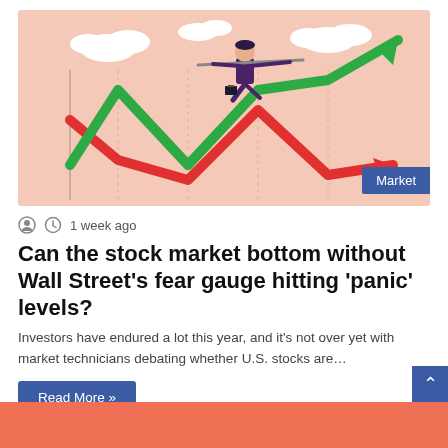[Figure (illustration): Illustration of a businessman in a purple suit balancing on a tightrope formed by intersecting green and red stock market trend arrows (zigzag pattern). He holds a long balance pole and a briefcase. Clouds in the background on a peach/salmon colored background. A blue 'Market' badge in the bottom right corner.]
1 week ago
Can the stock market bottom without Wall Street's fear gauge hitting ‘panic’ levels?
Investors have endured a lot this year, and it’s not over yet with market technicians debating whether U.S. stocks are…
Read More »